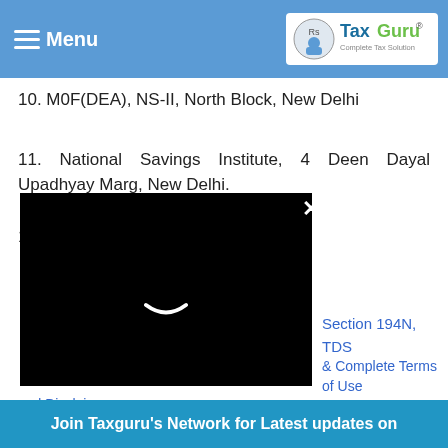Menu | TaxGuru - Complete Tax Solution
8. AD / Inspection/PF/Vigilance
9. All recognised unions.
10. M0F(DEA), NS-II, North Block, New Delhi
11. National Savings Institute, 4 Deen Dayal Upadhyay Marg, New Delhi.
12. PS to Member (Banking)
[Figure (screenshot): Black video player overlay with white smile/loading icon and close (x) button]
Section 194N, TDS
& Complete Terms of Use and Disclaimer.
[Figure (infographic): Social sharing buttons: Facebook, Twitter, Email, LinkedIn, Telegram, Share; with close button]
Join Taxguru's Network for Latest updates on